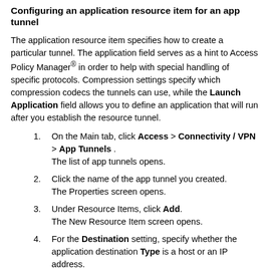Configuring an application resource item for an app tunnel
The application resource item specifies how to create a particular tunnel. The application field serves as a hint to Access Policy Manager® in order to help with special handling of specific protocols. Compression settings specify which compression codecs the tunnels can use, while the Launch Application field allows you to define an application that will run after you establish the resource tunnel.
1. On the Main tab, click Access > Connectivity / VPN > App Tunnels . The list of app tunnels opens.
2. Click the name of the app tunnel you created. The Properties screen opens.
3. Under Resource Items, click Add. The New Resource Item screen opens.
4. For the Destination setting, specify whether the application destination Type is a host or an IP address. You cannot use the fully qualified domain name to